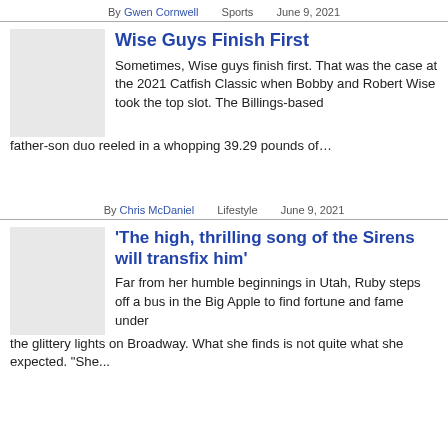By Gwen Cornwell   Sports   June 9, 2021
Wise Guys Finish First
Sometimes, Wise guys finish first. That was the case at the 2021 Catfish Classic when Bobby and Robert Wise took the top slot. The Billings-based father-son duo reeled in a whopping 39.29 pounds of…
By Chris McDaniel   Lifestyle   June 9, 2021
'The high, thrilling song of the Sirens will transfix him'
Far from her humble beginnings in Utah, Ruby steps off a bus in the Big Apple to find fortune and fame under the glittery lights on Broadway. What she finds is not quite what she expected. "She...